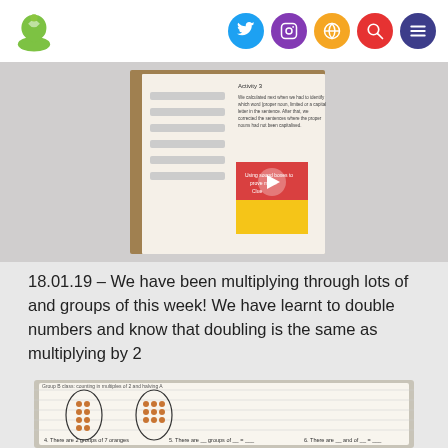School logo and social media navigation icons (Twitter, Instagram, Globe, Search, Menu)
[Figure (photo): Photo of a classroom activity worksheet with coloured sections including red and yellow areas, showing Activity 3 instructions and visual learning resources.]
18.01.19 – We have been multiplying through lots of and groups of this week! We have learnt to double numbers and know that doubling is the same as multiplying by 2
[Figure (photo): Photo of a student's exercise book showing multiplication grouping activities with drawn circles containing dots representing groups of objects, with handwritten answers.]